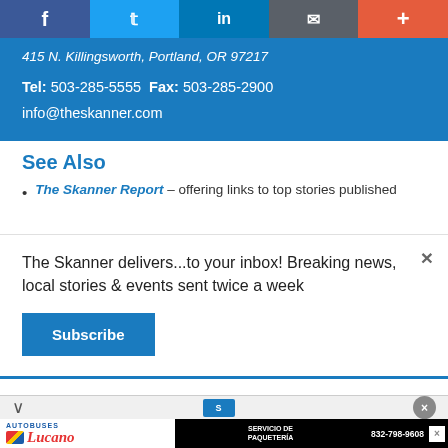Social share bar: Facebook, Twitter, LinkedIn, Email, More
415 N. Killingsworth, Portland, OR 97217
Tel: 503-285-5555  Fax: 503-285-2900
info@theskanner.com
See Also
The Skanner Report – offering links to top stories published
The Skanner delivers...to your inbox! Breaking news, local stories & events sent twice a week
Subscribe
[Figure (infographic): Autobuses Lucano advertisement with bus image, boxes image, SERVICIO DE PAQUETERÍA text, and phone number 832-798-9608]